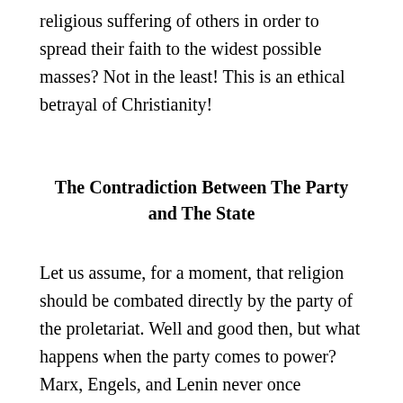religious suffering of others in order to spread their faith to the widest possible masses? Not in the least! This is an ethical betrayal of Christianity!
The Contradiction Between The Party and The State
Let us assume, for a moment, that religion should be combated directly by the party of the proletariat. Well and good then, but what happens when the party comes to power? Marx, Engels, and Lenin never once mentioned or wrote about a one-party state. It emerged in a later phase of the Russian Revolution and there is no indication that such a system was to